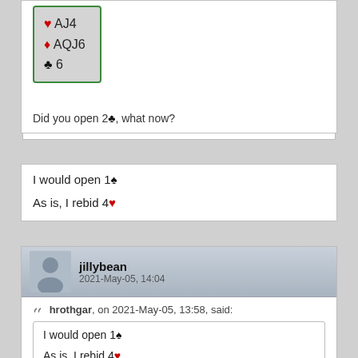[Figure (other): Bridge hand card display showing: heart AJ4, diamond AQJ6, club 6]
Did you open 2♣, what now?
I would open 1♠
As is, I rebid 4♥
jillybean
2021-May-05, 14:04
hrothgar, on 2021-May-05, 13:58, said:
I would open 1♠
As is, I rebid 4♥